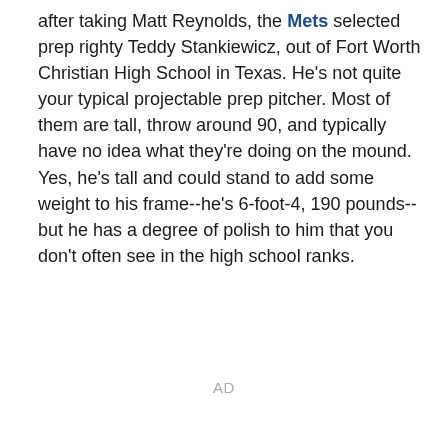after taking Matt Reynolds, the Mets selected prep righty Teddy Stankiewicz, out of Fort Worth Christian High School in Texas. He's not quite your typical projectable prep pitcher. Most of them are tall, throw around 90, and typically have no idea what they're doing on the mound. Yes, he's tall and could stand to add some weight to his frame--he's 6-foot-4, 190 pounds--but he has a degree of polish to him that you don't often see in the high school ranks.
AD